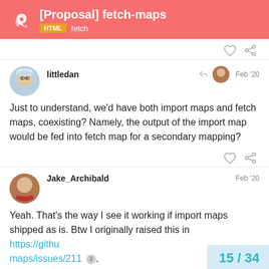[Proposal] fetch-maps — HTML fetch
Just to understand, we'd have both import maps and fetch maps, coexisting? Namely, the output of the import map would be fed into fetch map for a secondary mapping?
Yeah. That's the way I see it working if import maps shipped as is. Btw I originally raised this in https://github... maps/issues/211 3.
15 / 34